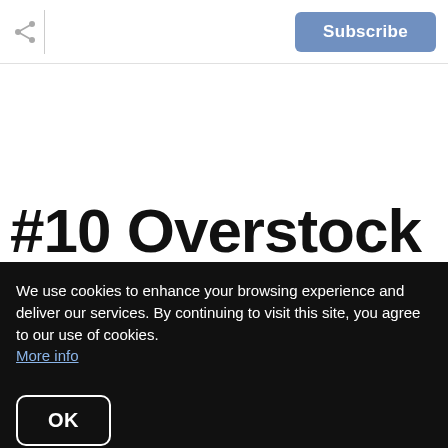Subscribe
#10 Overstock
Overstock's Labor Day Deals run the gamut from
We use cookies to enhance your browsing experience and deliver our services. By continuing to visit this site, you agree to our use of cookies. More info
OK